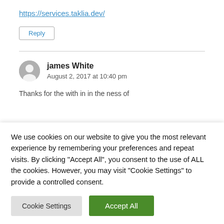https://services.taklia.dev/
Reply
james White
August 2, 2017 at 10:40 pm
We use cookies on our website to give you the most relevant experience by remembering your preferences and repeat visits. By clicking "Accept All", you consent to the use of ALL the cookies. However, you may visit "Cookie Settings" to provide a controlled consent.
Cookie Settings
Accept All